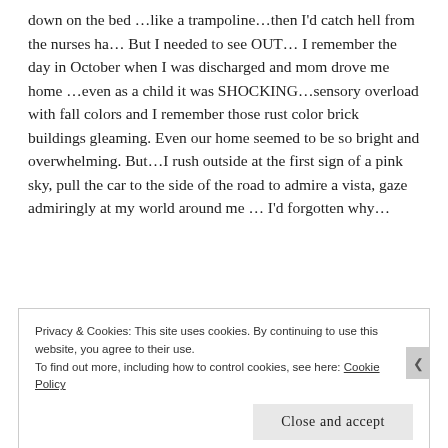down on the bed …like a trampoline…then I'd catch hell from the nurses ha… But I needed to see OUT… I remember the day in October when I was discharged and mom drove me home …even as a child it was SHOCKING…sensory overload with fall colors and I remember those rust color brick buildings gleaming. Even our home seemed to be so bright and overwhelming. But…I rush outside at the first sign of a pink sky, pull the car to the side of the road to admire a vista, gaze admiringly at my world around me … I'd forgotten why…
Privacy & Cookies: This site uses cookies. By continuing to use this website, you agree to their use. To find out more, including how to control cookies, see here: Cookie Policy
Close and accept